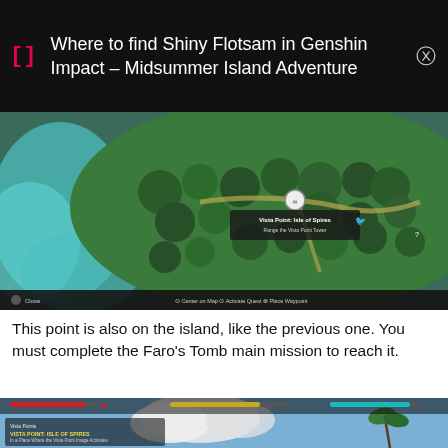Where to find Shiny Flotsam in Genshin Impact – Midsummer Island Adventure
[Figure (screenshot): Genshin Impact aerial map view showing island with forest, rivers, and Vista Point: Isle of Spines marker with quest UI at bottom]
This point is also on the island, like the previous one. You must complete the Faro's Tomb main mission to reach it.
[Figure (screenshot): Genshin Impact in-game screenshot showing Vista Point: Isle of Spires location UI overlay with sky and palm trees visible]